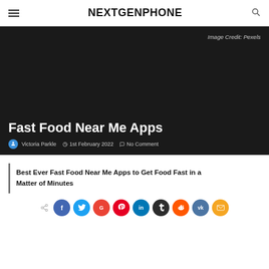NEXTGENPHONE
[Figure (photo): Dark hero image with text overlay showing article title and author meta information. Image credit: Pexels.]
Image Credit: Pexels
Fast Food Near Me Apps
Victoria Parkle   1st February 2022   No Comment
Best Ever Fast Food Near Me Apps to Get Food Fast in a Matter of Minutes
[Figure (infographic): Social share buttons row: Facebook, Twitter, Google, Pinterest, LinkedIn, Tumblr, Reddit, VK, Email]